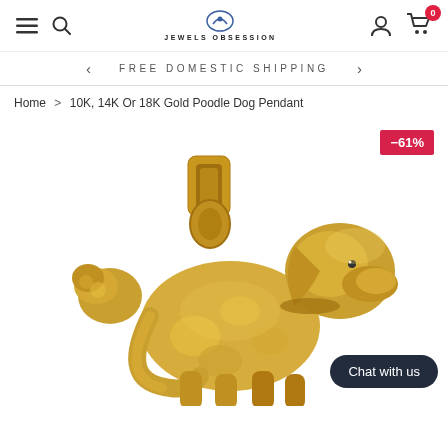JEWELS OBSESSION - navigation header with hamburger menu, search, logo, account, and cart icons
FREE DOMESTIC SHIPPING
Home > 10K, 14K Or 18K Gold Poodle Dog Pendant
[Figure (photo): Close-up photo of a gold poodle dog pendant jewelry piece showing detailed craftsmanship, with a -61% discount badge in the top-right corner and a 'Chat with us' button overlay at the bottom-right]